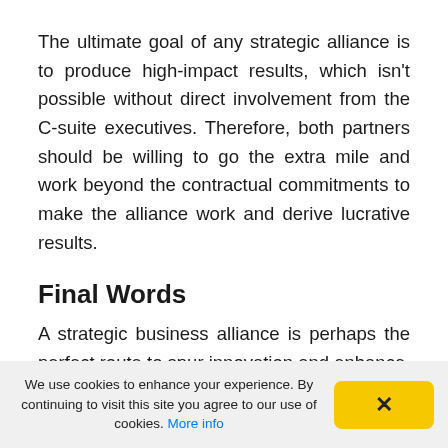The ultimate goal of any strategic alliance is to produce high-impact results, which isn't possible without direct involvement from the C-suite executives. Therefore, both partners should be willing to go the extra mile and work beyond the contractual commitments to make the alliance work and derive lucrative results.
Final Words
A strategic business alliance is perhaps the perfect route to spur innovation and enhance
We use cookies to enhance your experience. By continuing to visit this site you agree to our use of cookies. More info